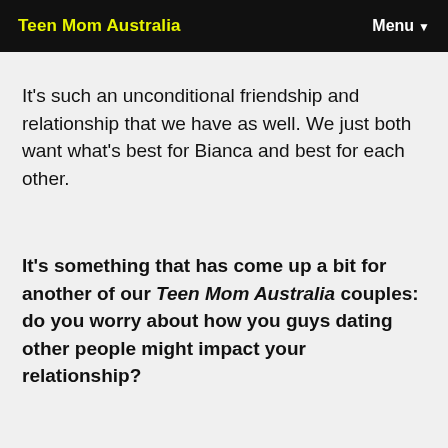Teen Mom Australia | Menu
It's such an unconditional friendship and relationship that we have as well. We just both want what's best for Bianca and best for each other.
It's something that has come up a bit for another of our Teen Mom Australia couples: do you worry about how you guys dating other people might impact your relationship?